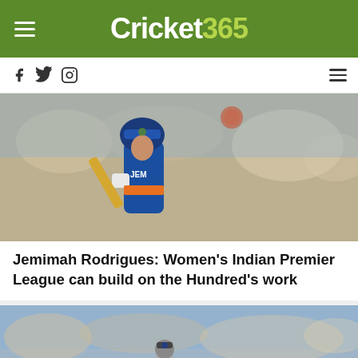Cricket365
[Figure (photo): Jemimah Rodrigues batting in blue India cricket kit, wearing helmet, playing a shot]
Jemimah Rodrigues: Women's Indian Premier League can build on the Hundred's work
[Figure (photo): Cricket match scene with players and crowd in background]
Research a Vehicle BY VIN Number  Bump  Enter a VIN  Search